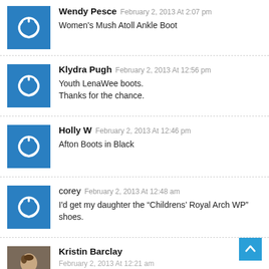Wendy Pesce · February 2, 2013 At 2:07 pm · Women's Mush Atoll Ankle Boot
Klydra Pugh · February 2, 2013 At 12:56 pm · Youth LenaWee boots. Thanks for the chance.
Holly W · February 2, 2013 At 12:46 pm · Afton Boots in Black
corey · February 2, 2013 At 12:48 am · I'd get my daughter the "Childrens' Royal Arch WP" shoes.
Kristin Barclay · February 2, 2013 At 12:21 am